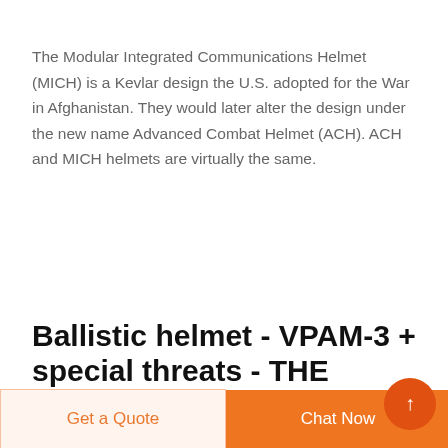The Modular Integrated Communications Helmet (MICH) is a Kevlar design the U.S. adopted for the War in Afghanistan. They would later alter the design under the new name Advanced Combat Helmet (ACH). ACH and MICH helmets are virtually the same.
Ballistic helmet - VPAM-3 + special threats - THE NEOSTEEL